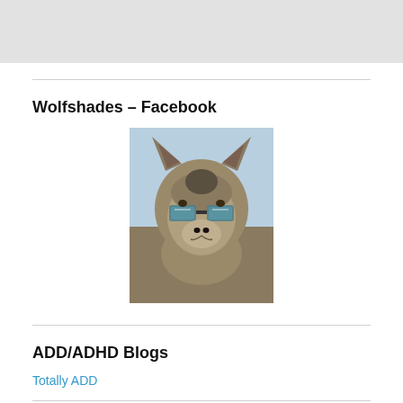[Figure (photo): Gray banner/header area at the top of the page]
Wolfshades – Facebook
[Figure (photo): Photo of a wolf wearing reflective sunglasses, set against a light blue sky background]
ADD/ADHD Blogs
Totally ADD
Blogroll